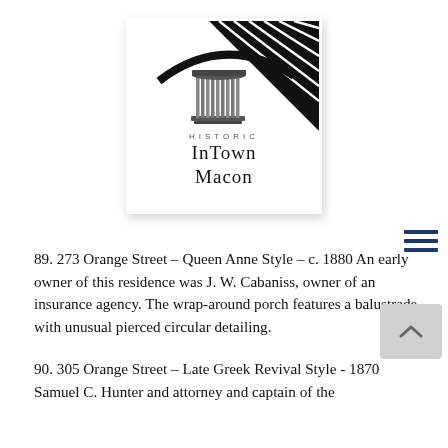[Figure (logo): Historic InTown Macon logo with a classical column and arc design in black and white, with the text 'HISTORIC' above 'InTown Macon']
89. 273 Orange Street – Queen Anne Style – c. 1880 An early owner of this residence was J. W. Cabaniss, owner of an insurance agency. The wrap-around porch features a balustrade with unusual pierced circular detailing.
90. 305 Orange Street – Late Greek Revival Style - 1870 Samuel C. Hunter and attorney and captain of the